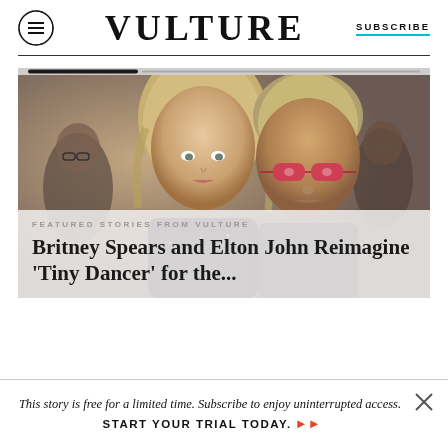VULTURE  SUBSCRIBE
[Figure (photo): Photo of two people — a blonde woman and an older man wearing pink/red glasses — posing together at what appears to be a party or event. Other people visible in background.]
FEATURED STORIES FROM VULTURE
Britney Spears and Elton John Reimagine 'Tiny Dancer' for the...
This story is free for a limited time. Subscribe to enjoy uninterrupted access. START YOUR TRIAL TODAY. ▶▶